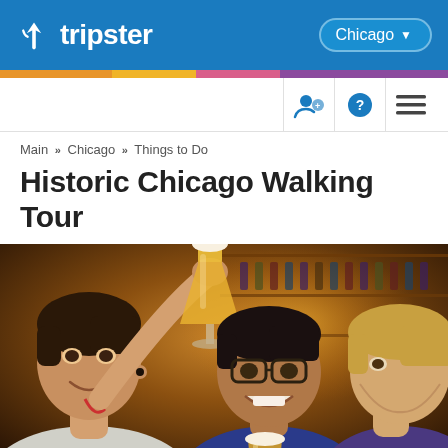[Figure (logo): Tripster logo with checkmark icon in white on blue header, with Chicago city selector pill on right]
[Figure (illustration): Decorative color stripe: orange, yellow, pink, purple]
[Figure (screenshot): Navigation bar with user account icon, help icon, and hamburger menu icon]
Main » Chicago » Things to Do
Historic Chicago Walking Tour
[Figure (photo): Three people clinking beer glasses together at a bar, smiling. Bar background with bottles visible. People include a young man with ear gauge in gray shirt, a man with glasses in blue shirt, and a third person on right.]